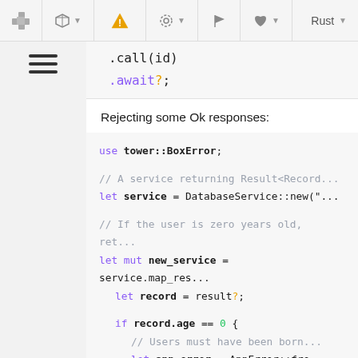[Figure (screenshot): IDE/documentation toolbar with icons: puzzle piece, cube with arrow, warning triangle (orange), gear with arrow, flag, leaf with arrow, and Rust language selector]
[Figure (screenshot): Sidebar with hamburger menu icon (three horizontal lines)]
Code snippet showing .call(id)  .await?;
Rejecting some Ok responses:
Code block: use tower::BoxError;

// A service returning Result<Record...
let service = DatabaseService::new("...

// If the user is zero years old, ret...
let mut new_service = service.map_res...
    let record = result?;

    if record.age == 0 {
        // Users must have been born...
        let app_error = AppError::fro...

        // Box the error to erase it...